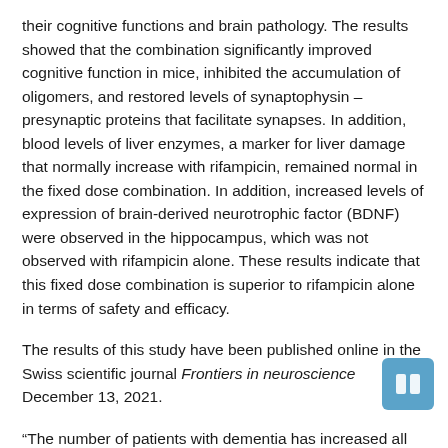their cognitive functions and brain pathology. The results showed that the combination significantly improved cognitive function in mice, inhibited the accumulation of oligomers, and restored levels of synaptophysin – presynaptic proteins that facilitate synapses. In addition, blood levels of liver enzymes, a marker for liver damage that normally increase with rifampicin, remained normal in the fixed dose combination. In addition, increased levels of expression of brain-derived neurotrophic factor (BDNF) were observed in the hippocampus, which was not observed with rifampicin alone. These results indicate that this fixed dose combination is superior to rifampicin alone in terms of safety and efficacy.
The results of this study have been published online in the Swiss scientific journal Frontiers in neuroscience December 13, 2021.
“The number of patients with dementia has increased all over the world, with some sources predicting the number of patients to double every 20 years. However, there is still no effective treatment for the disease, €… says Tomohiro Umeda, specially appointed speaker and first author of the study. “Recent studies have shown that abnormalities start to appear in the brains of patients with